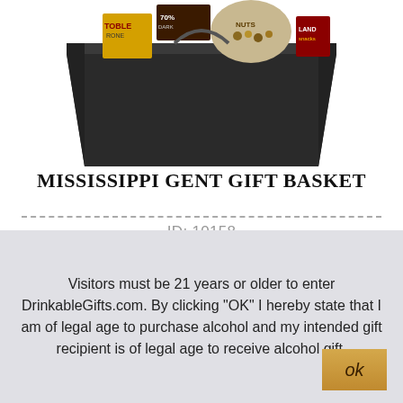[Figure (photo): Gift basket filled with Toblerone chocolate and snacks in a dark rectangular tray, viewed from above at an angle]
MISSISSIPPI GENT GIFT BASKET
ID: 10158
BUY NOW
$ 389.95
Visitors must be 21 years or older to enter DrinkableGifts.com. By clicking "OK" I hereby state that I am of legal age to purchase alcohol and my intended gift recipient is of legal age to receive alcohol gift.